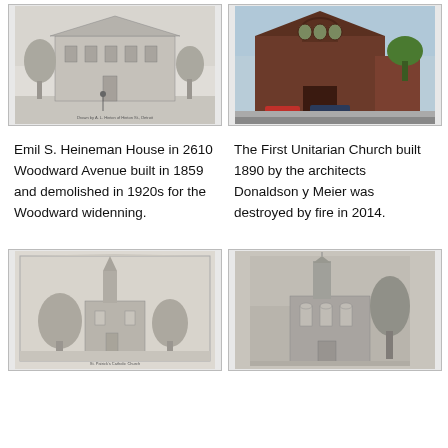[Figure (illustration): Historical sketch/engraving of the Emil S. Heineman House, a large multi-story building with trees in front, small text caption at the bottom.]
[Figure (photo): Photograph of the First Unitarian Church, a red-brick building with arched windows, a car parked in front.]
Emil S. Heineman House in 2610 Woodward Avenue built in 1859 and demolished in 1920s for the Woodward widenning.
The First Unitarian Church built 1890 by the architects Donaldson y Meier was destroyed by fire in 2014.
[Figure (illustration): Historical sketch of a church with a tall steeple surrounded by trees, small caption text at bottom reading 'St. Patrick's Catholic Church'.]
[Figure (photo): Black and white photograph of a Gothic church with a very tall pointed spire and trees to the side.]